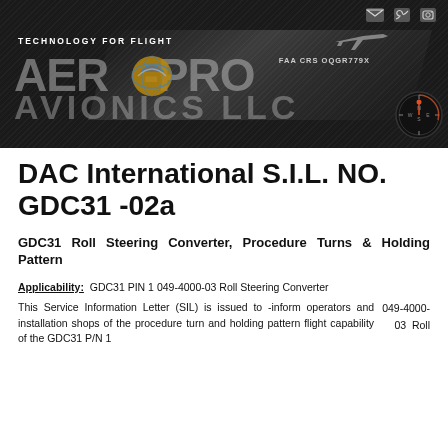[Figure (logo): Aero-Pro Avionics LLC company banner with dark background, diagonal texture, logo text, airplane silhouette, FAA CRS OQGR779X label, and social media icons]
DAC International S.I.L. NO. GDC31 -02a
GDC31 Roll Steering Converter, Procedure Turns & Holding Pattern
Applicability: GDC31 PIN 1 049-4000-03 Roll Steering Converter
This Service Information Letter (SIL) is issued to -inform operators and installation shops of the procedure turn and holding pattern flight capability of the GDC31 P/N 1 049-4000-03 Roll